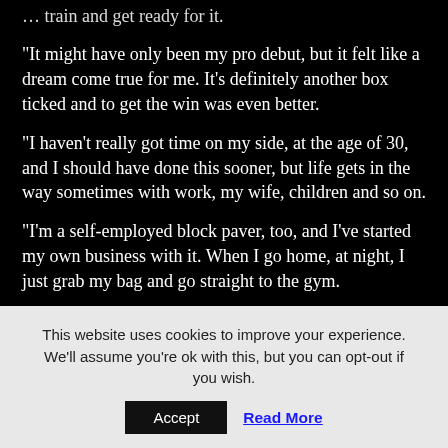… train and get ready for it.
“It might have only been my pro debut, but it felt like a dream come true for me. It’s definitely another box ticked and to get the win was even better.
“I haven’t really got time on my side, at the age of 30, and I should have done this sooner, but life gets in the way sometimes with work, my wife, children and so on.
“I’m a self-employed block paver, too, and I’ve started my own business with it. When I go home, at night, I just grab my bag and go straight to the gym.
“You couldn’t really do boxing if you didn’t want to, because…
This website uses cookies to improve your experience. We’ll assume you’re ok with this, but you can opt-out if you wish.
Accept
Read More